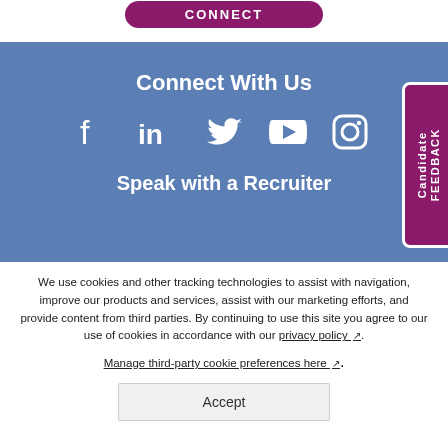[Figure (other): Dark pink/purple rounded button with text CONNECT in white uppercase letters]
Connect With Us
[Figure (other): Row of social media icons: Facebook, LinkedIn, Twitter, YouTube, Instagram — all white on blue background]
Speak with a Recruiter
[Figure (other): Vertical tab on right side with dark pink background, white text reading 'Candidate FEEDBACK' rotated sideways]
We use cookies and other tracking technologies to assist with navigation, improve our products and services, assist with our marketing efforts, and provide content from third parties. By continuing to use this site you agree to our use of cookies in accordance with our privacy policy. Manage third-party cookie preferences here.
Accept